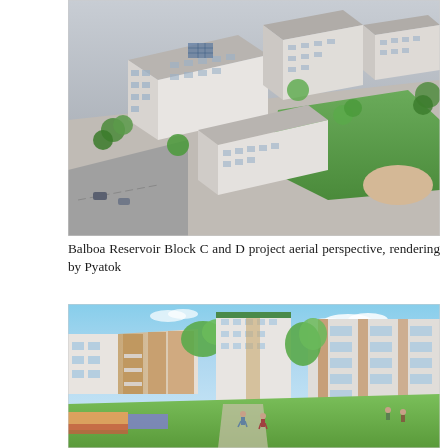[Figure (illustration): Aerial perspective rendering of Balboa Reservoir Block C and D project showing multiple white residential/mixed-use buildings arranged around courtyards with green spaces, trees lining streets, and landscaped areas.]
Balboa Reservoir Block C and D project aerial perspective, rendering by Pyatok
[Figure (illustration): Street-level perspective rendering of Balboa Reservoir project showing residential buildings with wood and white facades facing a large open green lawn/park area with pedestrians, colorful plantings in the foreground, and trees.]